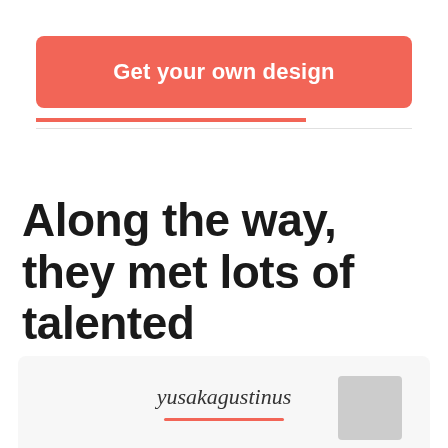[Figure (infographic): Salmon/coral colored button with rounded corners and white bold text reading 'Get your own design']
Along the way, they met lots of talented designers...
yusakagustinus